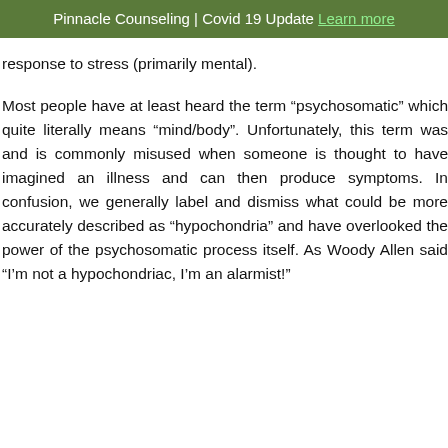Pinnacle Counseling | Covid 19 Update Learn more
response to stress (primarily mental).
Most people have at least heard the term “psychosomatic” which quite literally means “mind/body”. Unfortunately, this term was and is commonly misused when someone is thought to have imagined an illness and can then produce symptoms. In confusion, we generally label and dismiss what could be more accurately described as “hypochondria” and have overlooked the power of the psychosomatic process itself. As Woody Allen said “I’m not a hypochondriac, I’m an alarmist!”